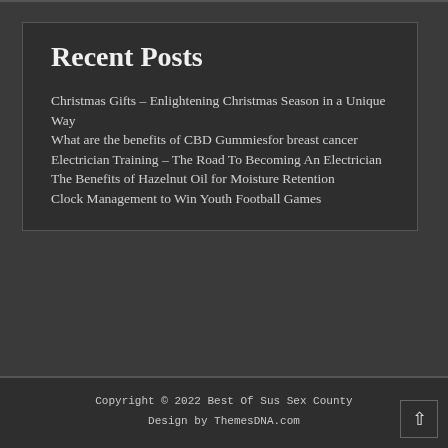Recent Posts
Christmas Gifts – Enlightening Christmas Season in a Unique Way
What are the benefits of CBD Gummiesfor breast cancer
Electrician Training – The Road To Becoming An Electrician
The Benefits of Hazelnut Oil for Moisture Retention
Clock Management to Win Youth Football Games
Copyright © 2022 Best Of Sus Sex County
Design by ThemesDNA.com